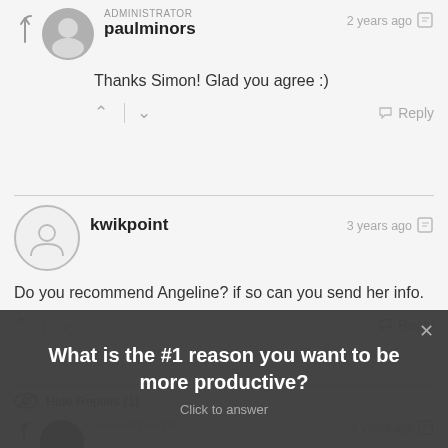[Figure (screenshot): Website comment section screenshot showing user comments, reply buttons, vote buttons, and a popup overlay asking 'What is the #1 reason you want to be more productive?' with 'Click to answer' subtext.]
ADMINISTRATOR
paulminors
2 years ago
Thanks Simon! Glad you agree :)
Reply
kwikpoint
3 years ago
Do you recommend Angeline? if so can you send her info.
Reply
Hide Replies (1)
ADMINISTRATOR
2 years ago
What is the #1 reason you want to be more productive?
Click to answer